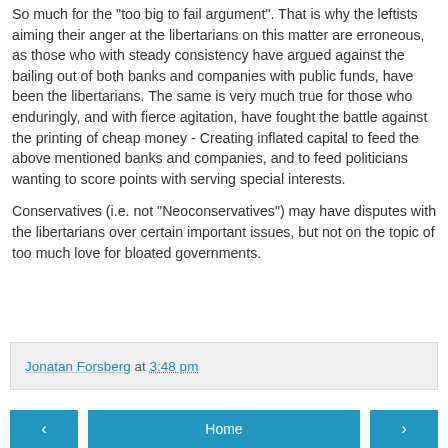So much for the "too big to fail argument". That is why the leftists aiming their anger at the libertarians on this matter are erroneous, as those who with steady consistency have argued against the bailing out of both banks and companies with public funds, have been the libertarians. The same is very much true for those who enduringly, and with fierce agitation, have fought the battle against the printing of cheap money - Creating inflated capital to feed the above mentioned banks and companies, and to feed politicians wanting to score points with serving special interests.
Conservatives (i.e. not "Neoconservatives") may have disputes with the libertarians over certain important issues, but not on the topic of too much love for bloated governments.
Jonatan Forsberg at 3:48 pm
◂   Home   ▸